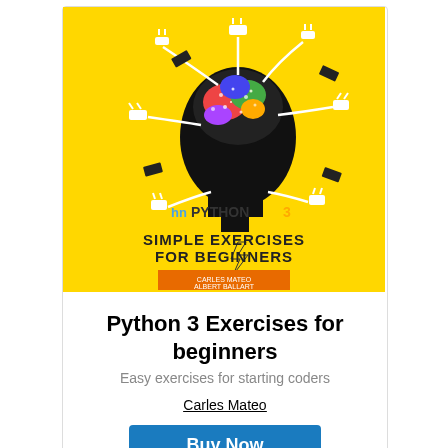[Figure (illustration): Book cover for 'Python 3 Simple Exercises for Beginners' with yellow background, silhouette of a head with colorful brain, electrical cables and plugs, Python logo, and author names: Carles Mateo, Albert Ballart, Sandra Soriano]
Python 3 Exercises for beginners
Easy exercises for starting coders
Carles Mateo
Buy Now
Minimum price: $10.00